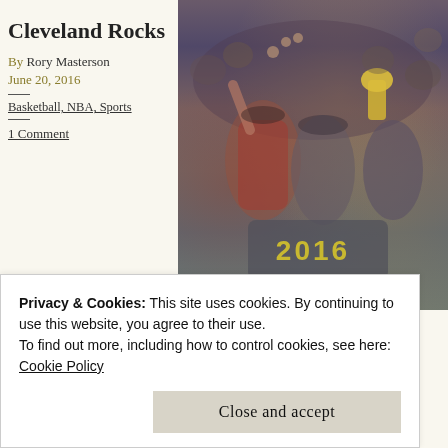Cleveland Rocks
By Rory Masterson
June 20, 2016
Basketball, NBA, Sports
1 Comment
[Figure (photo): Cleveland Cavaliers players celebrating their 2016 NBA Championship, holding the trophy and shirts reading '2016', crowd in background]
Privacy & Cookies: This site uses cookies. By continuing to use this website, you agree to their use.
To find out more, including how to control cookies, see here: Cookie Policy
Close and accept